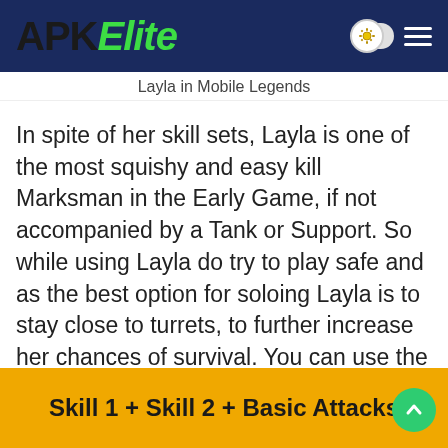APKElite
Layla in Mobile Legends
In spite of her skill sets, Layla is one of the most squishy and easy kill Marksman in the Early Game, if not accompanied by a Tank or Support. So while using Layla do try to play safe and as the best option for soloing Layla is to stay close to turrets, to further increase her chances of survival. You can use the following skill to gain an upper hand early in the game:
Skill 1 + Skill 2 + Basic Attacks